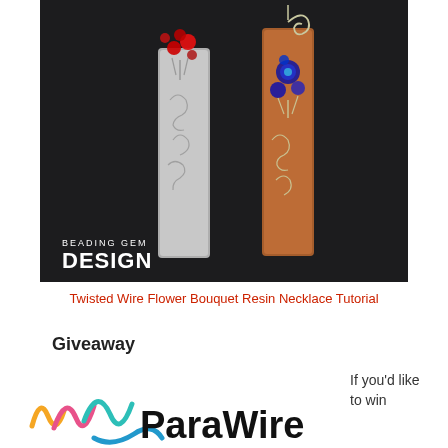[Figure (photo): Two handmade pendant necklaces on dark background — one silver with red crystal flower bouquet, one copper with blue crystal flower bouquet and wire spiral top. Beading Gem Design logo in lower left.]
Twisted Wire Flower Bouquet Resin Necklace Tutorial
Giveaway
[Figure (logo): ParaWire logo — colorful wave design in yellow, pink, teal, and blue with the text 'ParaWire' in bold black]
If you'd like to win